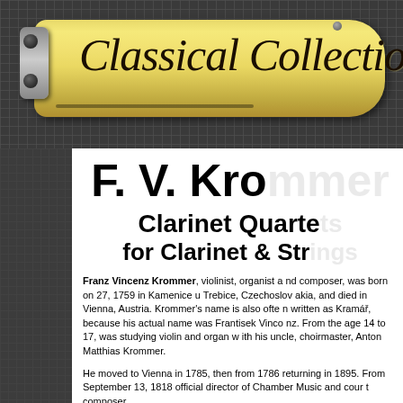[Figure (illustration): Classical Collection branded clasp/badge graphic — a gold-colored oblong clasp on a dark grid-patterned background with the italic script text 'Classical Collection' engraved on it, with two circular dots on the left side and a slot line near the bottom.]
F. V. Kro[mmer]
Clarinet Quarte[ts]
for Clarinet & Str[ings]
Franz Vincenz Krommer, violinist, organist a[nd composer, was born on] 27, 1759 in Kamenice u Trebice, Czechoslov[akia, and died in] Vienna, Austria. Krommer's name is also ofte[n written as Kramář,] because his actual name was Frantisek Vinco[...]. From the] age 14 to 17, was studying violin and organ w[ith his uncle,] choirmaster, Anton Matthias Krommer.
He moved to Vienna in 1785, then from 1786[...] returning in 1895. From September 13, 1818[...] official director of Chamber Music and cour[t...]